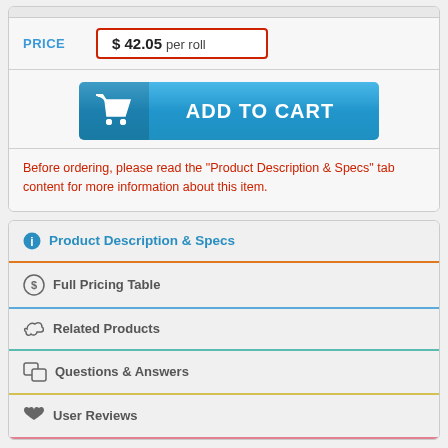PRICE  $ 42.05 per roll
ADD TO CART
Before ordering, please read the "Product Description & Specs" tab content for more information about this item.
Product Description & Specs
Full Pricing Table
Related Products
Questions & Answers
User Reviews
PRODUCT DESCRIPTION